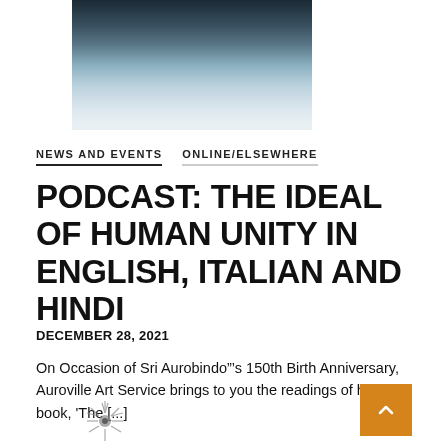[Figure (photo): Black and white photograph of a person wearing light-colored draped clothing, cropped to show upper body]
NEWS AND EVENTS   ONLINE/ELSEWHERE
PODCAST: THE IDEAL OF HUMAN UNITY IN ENGLISH, ITALIAN AND HINDI
DECEMBER 28, 2021
On Occasion of Sri Aurobindo’’s 150th Birth Anniversary, Auroville Art Service brings to you the readings of his book, 'The [...]